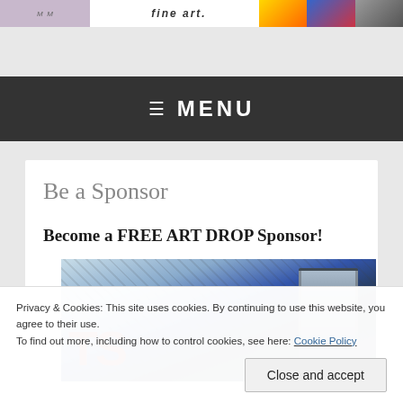fine art.
≡  MENU
Be a Sponsor
Become a FREE ART DROP Sponsor!
[Figure (photo): Urban street scene showing a building sign with red letters resembling 'TS', a chain-link fence, and blue sky — blurred/stylized photo]
Privacy & Cookies: This site uses cookies. By continuing to use this website, you agree to their use.
To find out more, including how to control cookies, see here: Cookie Policy
Close and accept